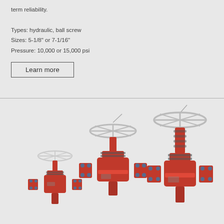term reliability.

Types: hydraulic, ball screw
Sizes: 5-1/8" or 7-1/16"
Pressure: 10,000 or 15,000 psi
Learn more
[Figure (photo): Three orange industrial gate valves of increasing size, each with a handwheel on top and flanged pipe connections on the sides. The valves are shown on a light grey background.]